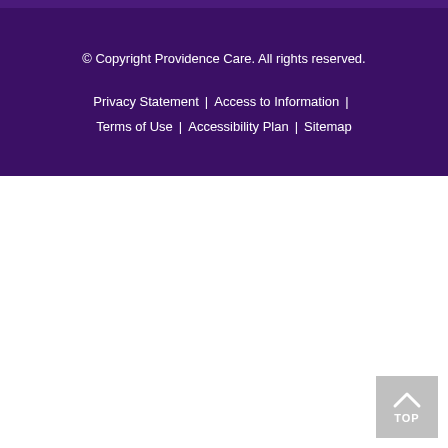© Copyright Providence Care. All rights reserved.
Privacy Statement | Access to Information | Terms of Use | Accessibility Plan | Sitemap
[Figure (other): Back to top button with upward chevron arrow icon and TOP label, light grey background]